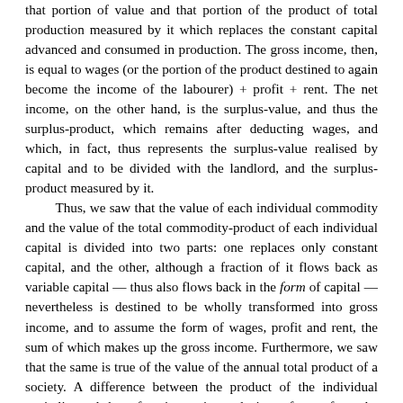that portion of value and that portion of the product of total production measured by it which replaces the constant capital advanced and consumed in production. The gross income, then, is equal to wages (or the portion of the product destined to again become the income of the labourer) + profit + rent. The net income, on the other hand, is the surplus-value, and thus the surplus-product, which remains after deducting wages, and which, in fact, thus represents the surplus-value realised by capital and to be divided with the landlord, and the surplus-product measured by it.
Thus, we saw that the value of each individual commodity and the value of the total commodity-product of each individual capital is divided into two parts: one replaces only constant capital, and the other, although a fraction of it flows back as variable capital — thus also flows back in the form of capital — nevertheless is destined to be wholly transformed into gross income, and to assume the form of wages, profit and rent, the sum of which makes up the gross income. Furthermore, we saw that the same is true of the value of the annual total product of a society. A difference between the product of the individual capitalist and that of society exists only in so far as: from the standpoint of the individual capitalist the net income differs from the gross income, for the latter includes the wages, whereas the